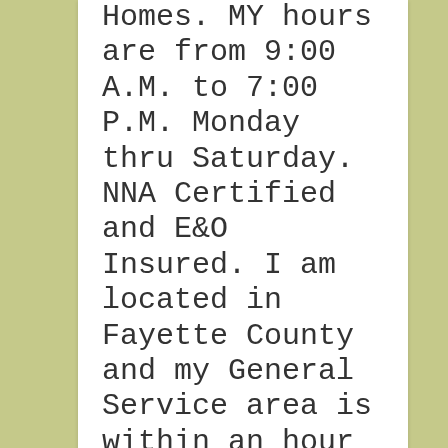Homes. MY hours are from 9:00 A.M. to 7:00 P.M. Monday thru Saturday. NNA Certified and E&O Insured. I am located in Fayette County and my General Service area is within an hour of my domicile...but I will travel to anywhere in the state for an additional mileage fee. Please visit my website for additional information. I look forward to your call!